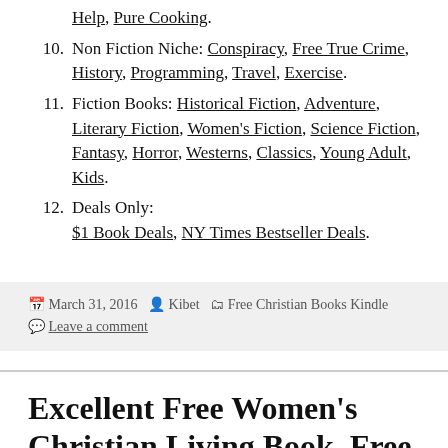Help, Pure Cooking.
10. Non Fiction Niche: Conspiracy, Free True Crime, History, Programming, Travel, Exercise.
11. Fiction Books: Historical Fiction, Adventure, Literary Fiction, Women's Fiction, Science Fiction, Fantasy, Horror, Westerns, Classics, Young Adult, Kids.
12. Deals Only: $1 Book Deals, NY Times Bestseller Deals.
March 31, 2016  Kibet  Free Christian Books Kindle  Leave a comment
Excellent Free Women's Christian Living Book, Free Kindle Christian Books,